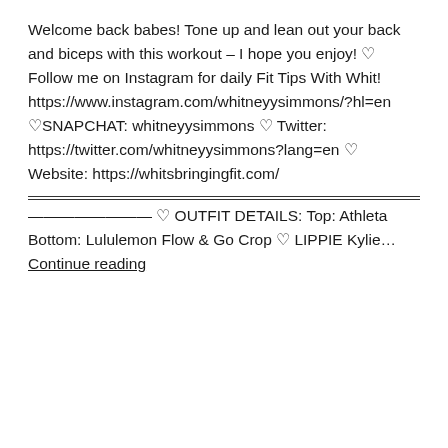Welcome back babes! Tone up and lean out your back and biceps with this workout – I hope you enjoy! ♡ Follow me on Instagram for daily Fit Tips With Whit! https://www.instagram.com/whitneyysimmons/?hl=en ♡SNAPCHAT: whitneyysimmons ♡ Twitter: https://twitter.com/whitneyysimmons?lang=en ♡ Website: https://whitsbringingfit.com/
———————— ♡ OUTFIT DETAILS: Top: Athleta Bottom: Lululemon Flow & Go Crop ♡ LIPPIE Kylie… Continue reading